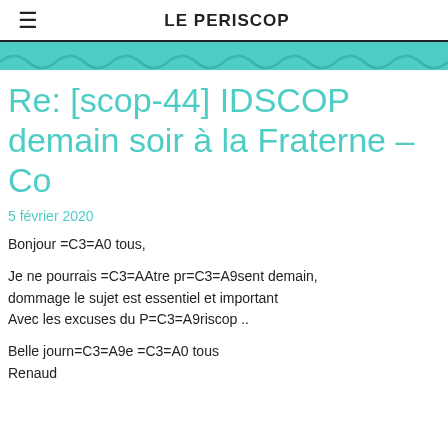LE PERISCOP
Re: [scop-44] IDSCOP demain soir à la Fraterne – Co
5 février 2020
Bonjour =C3=A0 tous,
Je ne pourrais =C3=AAtre pr=C3=A9sent demain, dommage le sujet est essentiel et important
Avec les excuses du P=C3=A9riscop ..
Belle journ=C3=A9e =C3=A0 tous
Renaud